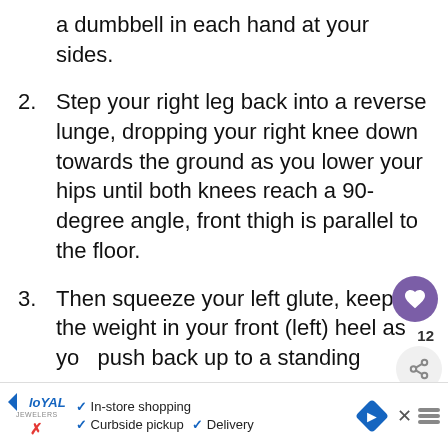a dumbbell in each hand at your sides.
2. Step your right leg back into a reverse lunge, dropping your right knee down towards the ground as you lower your hips until both knees reach a 90-degree angle, front thigh is parallel to the floor.
3. Then squeeze your left glute, keeping the weight in your front (left) heel as you push back up to a standing position, keeping your right foot in place so you can lower back down.
4. Continue to lower and lift with your right leg back for 30 seconds.